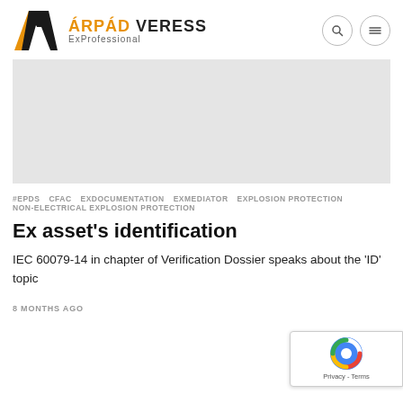ÁRPÁD VERESS ExProfessional
[Figure (illustration): Light gray banner/image placeholder area]
#EPDS  CFAC  EXDOCUMENTATION  EXMEDIATOR  EXPLOSION PROTECTION  NON-ELECTRICAL EXPLOSION PROTECTION
Ex asset's identification
IEC 60079-14 in chapter of Verification Dossier speaks about the 'ID' topic
8 MONTHS AGO